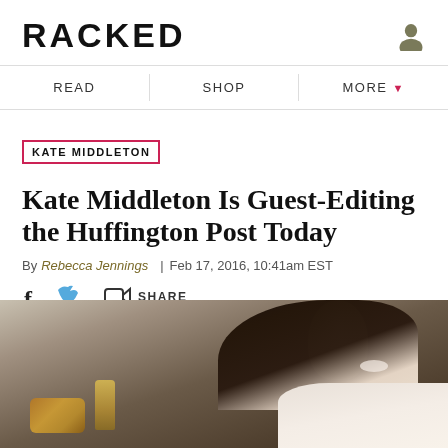RACKED
READ | SHOP | MORE
KATE MIDDLETON
Kate Middleton Is Guest-Editing the Huffington Post Today
By Rebecca Jennings | Feb 17, 2016, 10:41am EST
SHARE
[Figure (photo): Photo of Kate Middleton smiling, with dark hair, wearing white, with golden decorative objects visible in the background]